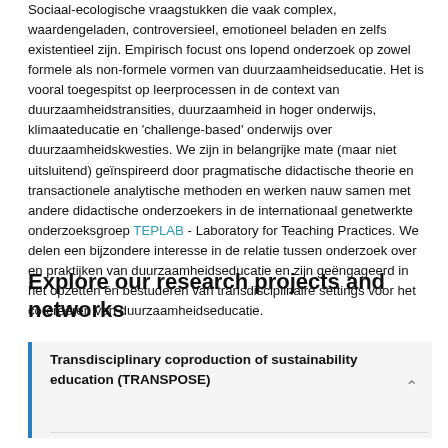Sociaal-ecologische vraagstukken die vaak complex, waardengeladen, controversieel, emotioneel beladen en zelfs existentieel zijn. Empirisch focust ons lopend onderzoek op zowel formele als non-formele vormen van duurzaamheidseducatie. Het is vooral toegespitst op leerprocessen in de context van duurzaamheidstransities, duurzaamheid in hoger onderwijs, klimaateducatie en 'challenge-based' onderwijs over duurzaamheidskwesties. We zijn in belangrijke mate (maar niet uitsluitend) geïnspireerd door pragmatische didactische theorie en transactionele analytische methoden en werken nauw samen met andere didactische onderzoekers in de internationaal genetwerkte onderzoeksgroep TEPLAB - Laboratory for Teaching Practices. We delen een bijzondere interesse in de relatie tussen onderzoek over en praktijken van duurzaamheidseducatie en zijn geëngageerd in het opzetten én bestuderen van transdisciplinaire settings voor het co-creëren van duurzaamheidseducatie.
Explore our research projects and networks
Transdisciplinary coproduction of sustainability education (TRANSPOSE)